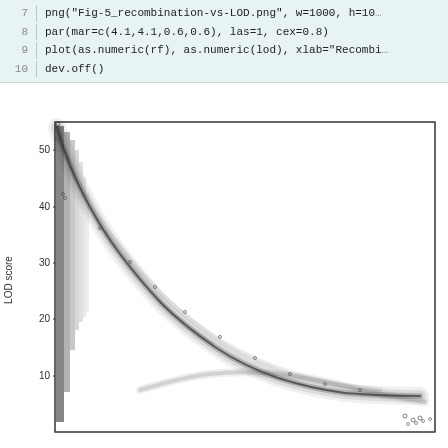7  png("Fig-5_recombination-vs-LOD.png", w=1000, h=100
8  par(mar=c(4.1,4.1,0.6,0.6), las=1, cex=0.8)
9  plot(as.numeric(rf), as.numeric(lod), xlab="Recombi
10 dev.off()
[Figure (continuous-plot): Scatter plot of LOD score (y-axis, range 0-55) vs Recombination fraction (x-axis). Shows a dense hyperbolic decay curve: very high LOD scores (~52 max) at low recombination fractions near 0, rapidly decreasing as recombination fraction increases. Data points form a thick curved band. A secondary cluster of points appears near the bottom right corner. The curve is characteristic of the relationship between LOD score and recombination fraction in genetic linkage analysis.]